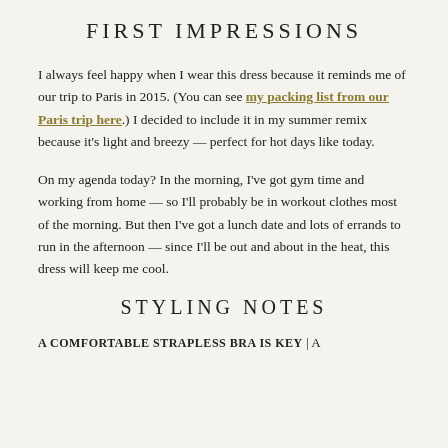FIRST IMPRESSIONS
I always feel happy when I wear this dress because it reminds me of our trip to Paris in 2015. (You can see my packing list from our Paris trip here.) I decided to include it in my summer remix because it's light and breezy — perfect for hot days like today.
On my agenda today? In the morning, I've got gym time and working from home — so I'll probably be in workout clothes most of the morning. But then I've got a lunch date and lots of errands to run in the afternoon — since I'll be out and about in the heat, this dress will keep me cool.
STYLING NOTES
A COMFORTABLE STRAPLESS BRA IS KEY | A